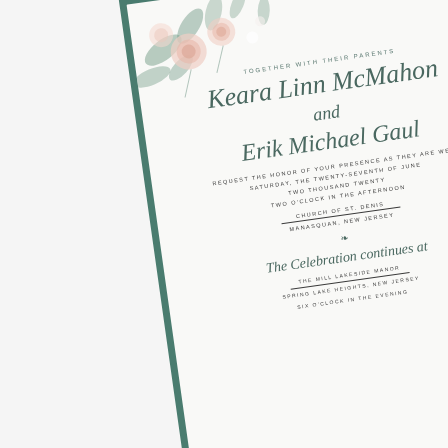[Figure (photo): Wedding invitation card displayed at an angle on a wooden surface. The card features a sage green border, floral watercolor decorations (pink roses and eucalyptus leaves) in upper-left and lower-right corners, and the following text in script and spaced capitals.]
TOGETHER WITH THEIR PARENTS
Keara Linn McMahon
and
Erik Michael Gaul
REQUEST THE HONOR OF YOUR PRESENCE AS THEY ARE WED
SATURDAY, THE TWENTY-SEVENTH OF JUNE
TWO THOUSAND TWENTY
TWO O'CLOCK IN THE AFTERNOON
CHURCH OF ST. DENIS
MANASQUAN, NEW JERSEY
The Celebration continues at
THE MILL LAKESIDE MANOR
SPRING LAKE HEIGHTS, NEW JERSEY
SIX O'CLOCK IN THE EVENING